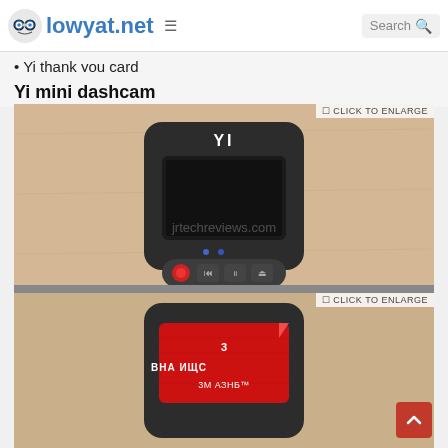lowyat.net
Yi thank you card
Yi mini dashcam
[Figure (photo): Front face of Yi mini dashcam sitting on a wooden surface, showing the LCD screen and control buttons, with a watermark 'jrtechreviews.com'. 'CLICK TO ENLARGE' label in top right corner.]
[Figure (photo): Bottom/back of Yi mini dashcam showing a red 3M VHB adhesive tape mounting pad. 'CLICK TO ENLARGE' label in top right.]